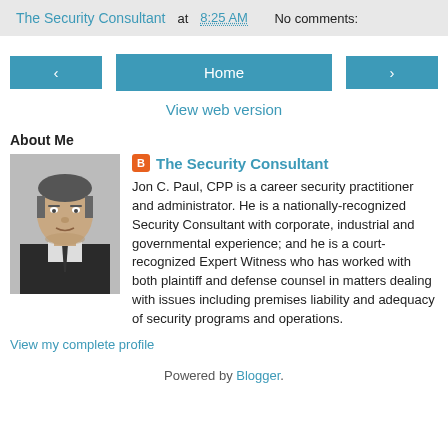The Security Consultant at 8:25 AM    No comments:
[Figure (other): Navigation buttons: left arrow, Home, right arrow]
View web version
About Me
[Figure (photo): Black and white headshot photo of Jon C. Paul]
The Security Consultant
Jon C. Paul, CPP is a career security practitioner and administrator. He is a nationally-recognized Security Consultant with corporate, industrial and governmental experience; and he is a court-recognized Expert Witness who has worked with both plaintiff and defense counsel in matters dealing with issues including premises liability and adequacy of security programs and operations.
View my complete profile
Powered by Blogger.